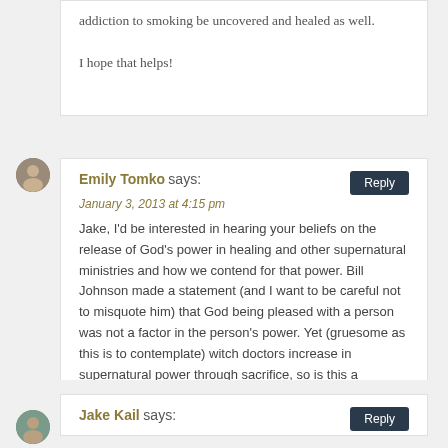addiction to smoking be uncovered and healed as well.

I hope that helps!
Emily Tomko says:
January 3, 2013 at 4:15 pm

Jake, I'd be interested in hearing your beliefs on the release of God's power in healing and other supernatural ministries and how we contend for that power. Bill Johnson made a statement (and I want to be careful not to misquote him) that God being pleased with a person was not a factor in the person's power. Yet (gruesome as this is to contemplate) witch doctors increase in supernatural power through sacrifice, so is this a counterfeit to God's operations with Christians? The Bible speaks of the Christian's sacrifices – is there a connection?
Jake Kail says: